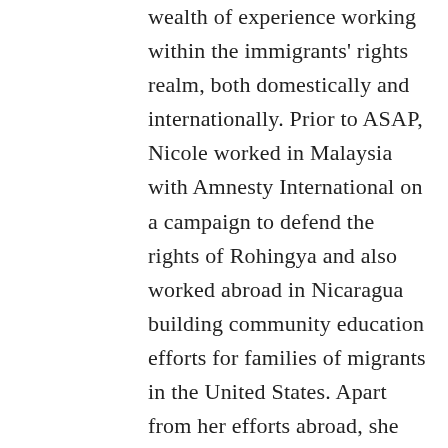wealth of experience working within the immigrants' rights realm, both domestically and internationally. Prior to ASAP, Nicole worked in Malaysia with Amnesty International on a campaign to defend the rights of Rohingya and also worked abroad in Nicaragua building community education efforts for families of migrants in the United States. Apart from her efforts abroad, she also founded a student organization in partnership with Lutheran Family Services during her time at Colorado College that focused on advocacy around refugee and immigrant rights, and she continued pursuing her interest in defending asylum seekers this past year while working as an immigration paralegal at a private firm.